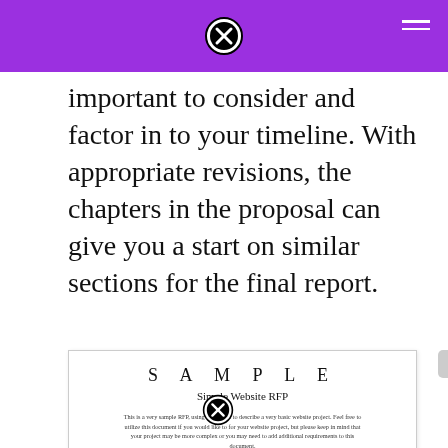[Purple navigation bar with close icon and hamburger menu]
important to consider and factor in to your timeline. With appropriate revisions, the chapters in the proposal can give you a start on similar sections for the final report.
[Figure (screenshot): Sample document card showing 'SAMPLE Simple Website RFP' with descriptive text and a PROPOSAL SUBMISSION section listing submission deadline of 2:00 p.m., May 24, 2009 and address at City of Allentown Marketing Services Department, 420 North Pearl Street, Allentown, Virginia 20202. Questions section partially visible at bottom.]